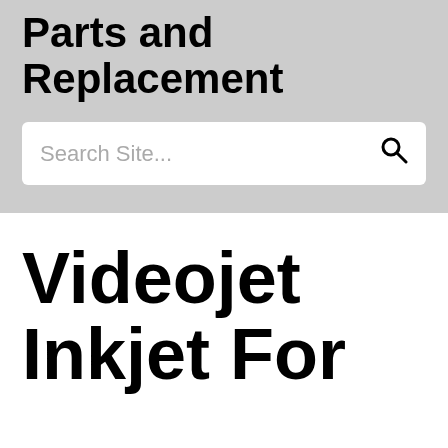Parts and Replacement
Search Site...
Videojet Inkjet For